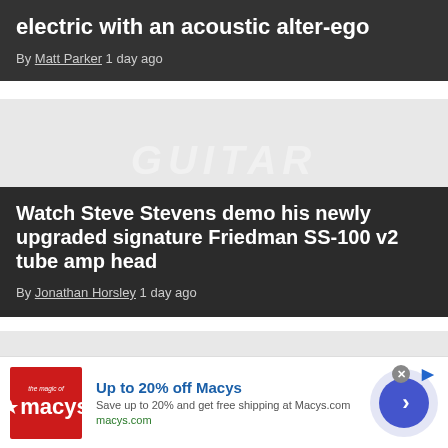electric with an acoustic alter-ego
By Matt Parker 1 day ago
[Figure (photo): Gray placeholder image area with faded italic text overlay]
Watch Steve Stevens demo his newly upgraded signature Friedman SS-100 v2 tube amp head
By Jonathan Horsley 1 day ago
[Figure (photo): Gray placeholder image strip]
Up to 20% off Macys
Save up to 20% and get free shipping at Macys.com
macys.com